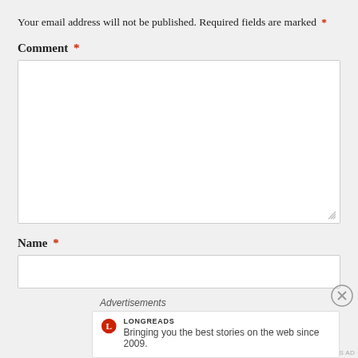Your email address will not be published. Required fields are marked *
Comment *
[Figure (screenshot): Empty comment textarea input box with resize handle]
Name *
[Figure (screenshot): Empty name text input box]
Advertisements
[Figure (screenshot): Longreads advertisement banner with logo and tagline: Bringing you the best stories on the web since 2009.]